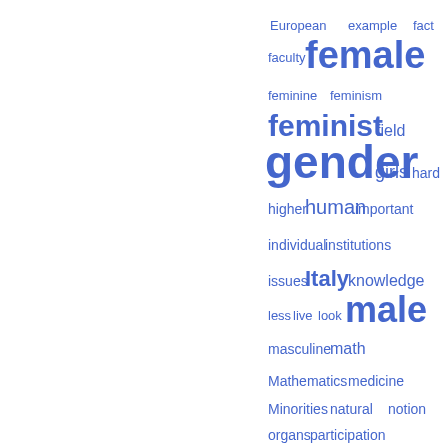[Figure (other): Word cloud showing academic terms related to gender studies and science, displayed in shades of blue with varying font sizes indicating frequency. Words include: European, example, fact, faculty, female, feminine, feminism, feminist, field, gender, girls, hard, higher, human, important, individual, institutions, issues, Italy, knowledge, less, live, look, male, masculine, math, Mathematics, medicine, Minorities, natural, notion, organs, participation, percent, physicist, physics, political, positions, practices, primate, primatology, problems, productivity, profession]